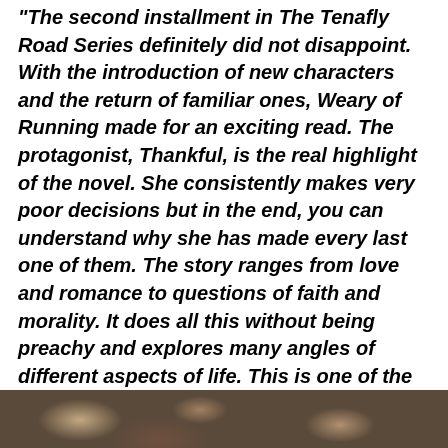“The second installment in The Tenafly Road Series definitely did not disappoint. With the introduction of new characters and the return of familiar ones, Weary of Running made for an exciting read. The protagonist, Thankful, is the real highlight of the novel. She consistently makes very poor decisions but in the end, you can understand why she has made every last one of them. The story ranges from love and romance to questions of faith and morality. It does all this without being preachy and explores many angles of different aspects of life. This is one of the best books I have read in a long time.”
Amazon Review
[Figure (photo): Bottom strip showing a dark sepia/brown toned photo, partially visible at the bottom of the page.]